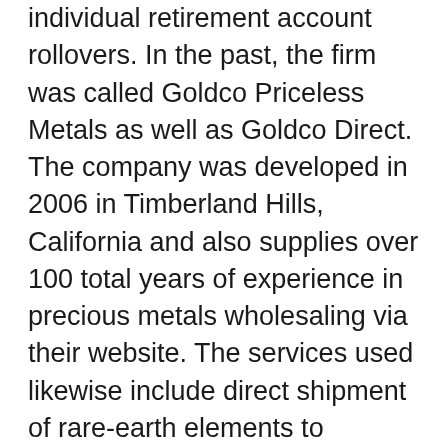individual retirement account rollovers. In the past, the firm was called Goldco Priceless Metals as well as Goldco Direct. The company was developed in 2006 in Timberland Hills, California and also supplies over 100 total years of experience in precious metals wholesaling via their website. The services used likewise include direct shipment of rare-earth elements to customers via 410( k) and also Goldco Gold IRA cars.
The specialization of the firm is Silver as well as Gold Individual Retirement Accounts. Thousands of clients have actually received help to diversify, shield and grow their riches via physical metals consisting of silver, gold, palladium as well as platinum. The firm takes